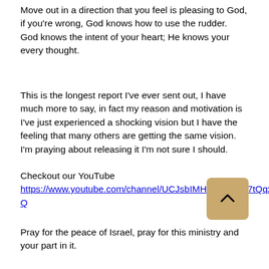Move out in a direction that you feel is pleasing to God, if you're wrong, God knows how to use the rudder.  God knows the intent of your heart; He knows your every thought.
This is the longest report I've ever sent out, I have much more to say, in fact my reason and motivation is I've just experienced a shocking vision but I have the feeling that many others are getting the same vision.  I'm praying about releasing it I'm not sure I should.
Checkout our YouTube
https://www.youtube.com/channel/UCJsbIMHnIDiZUxla7tQqx-Q
Pray for the peace of Israel, pray for this ministry and your part in it.